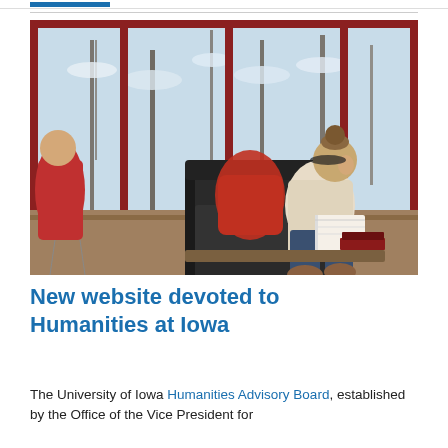[Figure (photo): A student sitting in a modern chair reading a book in front of large floor-to-ceiling windows overlooking snow-covered trees. A red backpack is on the chair. Another person in a red jacket is visible on the left.]
New website devoted to Humanities at Iowa
The University of Iowa Humanities Advisory Board, established by the Office of the Vice President for